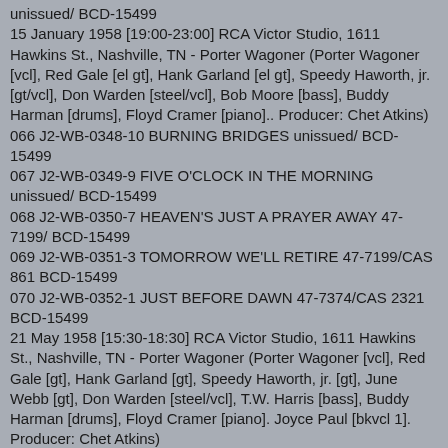unissued/ BCD-15499
15 January 1958 [19:00-23:00] RCA Victor Studio, 1611 Hawkins St., Nashville, TN - Porter Wagoner (Porter Wagoner [vcl], Red Gale [el gt], Hank Garland [el gt], Speedy Haworth, jr. [gt/vcl], Don Warden [steel/vcl], Bob Moore [bass], Buddy Harman [drums], Floyd Cramer [piano].. Producer: Chet Atkins)
066 J2-WB-0348-10 BURNING BRIDGES unissued/ BCD-15499
067 J2-WB-0349-9 FIVE O'CLOCK IN THE MORNING unissued/ BCD-15499
068 J2-WB-0350-7 HEAVEN'S JUST A PRAYER AWAY 47-7199/ BCD-15499
069 J2-WB-0351-3 TOMORROW WE'LL RETIRE 47-7199/CAS 861 BCD-15499
070 J2-WB-0352-1 JUST BEFORE DAWN 47-7374/CAS 2321 BCD-15499
21 May 1958 [15:30-18:30] RCA Victor Studio, 1611 Hawkins St., Nashville, TN - Porter Wagoner (Porter Wagoner [vcl], Red Gale [gt], Hank Garland [gt], Speedy Haworth, jr. [gt], June Webb [gt], Don Warden [steel/vcl], T.W. Harris [bass], Buddy Harman [drums], Floyd Cramer [piano]. Joyce Paul [bkvcl 1]. Producer: Chet Atkins)